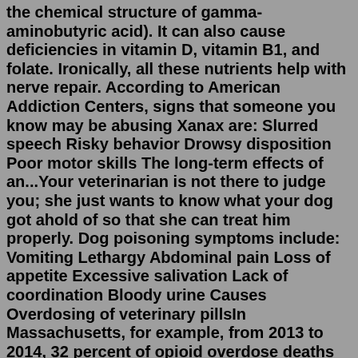the chemical structure of gamma-aminobutyric acid). It can also cause deficiencies in vitamin D, vitamin B1, and folate. Ironically, all these nutrients help with nerve repair. According to American Addiction Centers, signs that someone you know may be abusing Xanax are: Slurred speech Risky behavior Drowsy disposition Poor motor skills The long-term effects of an...Your veterinarian is not there to judge you; she just wants to know what your dog got ahold of so that she can treat him properly. Dog poisoning symptoms include: Vomiting Lethargy Abdominal pain Loss of appetite Excessive salivation Lack of coordination Bloody urine Causes Overdosing of veterinary pillsIn Massachusetts, for example, from 2013 to 2014, 32 percent of opioid overdose deaths involved fentanyl. During the first half of 2016, the percentage of fentanyl-related opioid deaths had more ...Mar 01, 2019 · Your veterinarian is not there to judge you; she just wants to know what your dog got ahold of so that she can treat him properly. Dog poisoning symptoms include: Vomiting, Lethargy,